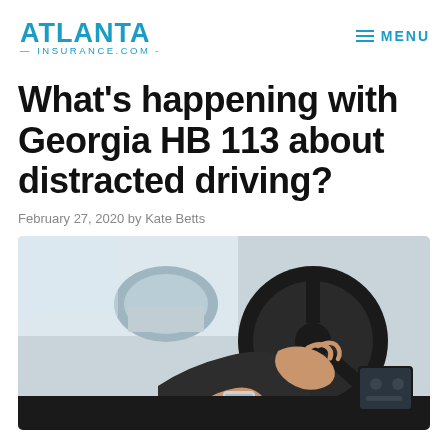ATLANTA INSURANCE.COM — MENU
What’s happening with Georgia HB 113 about distracted driving?
February 27, 2020 by Kate Betts
[Figure (photo): Person holding a smartphone while gripping a car steering wheel, dashboard visible in background]